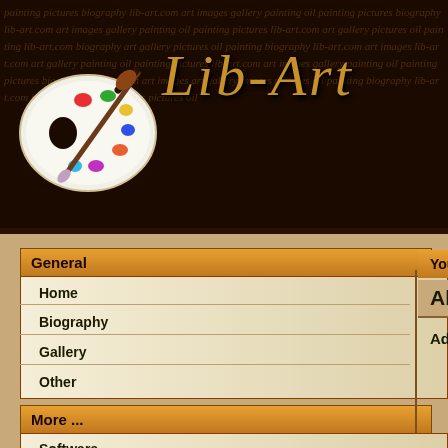Lib-Art
General
Home
Biography
Gallery
Other
More ...
Software
Cars
Android
You are here: Art Paint - warfare
All tags
Advertisements